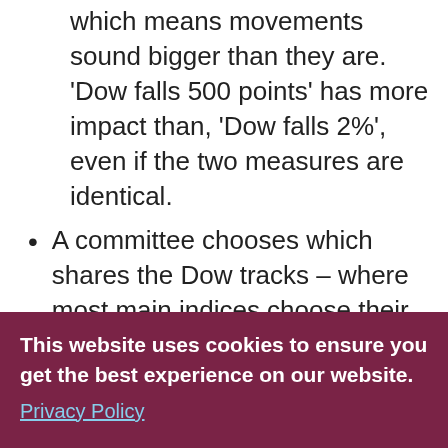which means movements sound bigger than they are. 'Dow falls 500 points' has more impact than, 'Dow falls 2%', even if the two measures are identical.
A committee chooses which shares the Dow tracks – where most main indices choose their constituents by market capitalisation – so it has some surprising absences, such as Alphabet (Google's holding company) and Facebook.
Almost uniquely, the Dow is weighted by share price rather than company stock market value, which has some strange effects. Because a high share price means a larger weighting, Boeing (with a share price around $320) has nearly double the weight of Apple (with a share price around $170), even though Apple is the largest US
This website uses cookies to ensure you get the best experience on our website.
Privacy Policy
Got it!